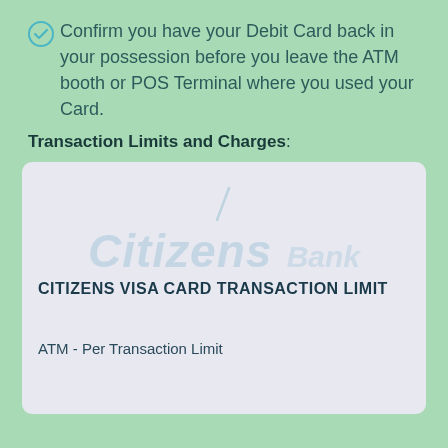Confirm you have your Debit Card back in your possession before you leave the ATM booth or POS Terminal where you used your Card.
Transaction Limits and Charges:
[Figure (logo): Citizens Bank watermark logo with italic text 'Citizens' in teal and 'Bank' in lighter blue, with a decorative slash above]
CITIZENS VISA CARD TRANSACTION LIMIT
ATM - Per Transaction Limit